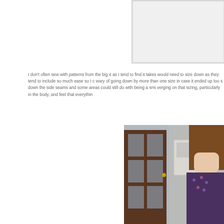[Figure (photo): Partially visible photo or image at top right, clipped, showing light background with a rectangular box outline]
I don't often sew with patterns from the big 4 as I tend to find it takes would need to size down as they tend to include so much ease so I c wary of going down by more than one size in case it ended up too s down the side seams and some areas could still do with being a smi verging on that sizing, particularly in the body, and feel that everythin
[Figure (photo): Photo of a young woman with long brown hair standing in front of a dark wooden door with glass panels and white window frames, wearing a patterned sleeveless top]